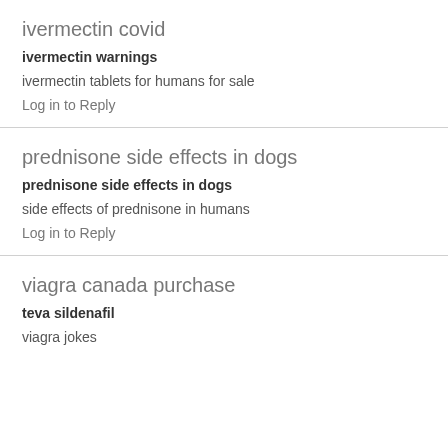ivermectin covid
ivermectin warnings
ivermectin tablets for humans for sale
Log in to Reply
prednisone side effects in dogs
prednisone side effects in dogs
side effects of prednisone in humans
Log in to Reply
viagra canada purchase
teva sildenafil
viagra jokes